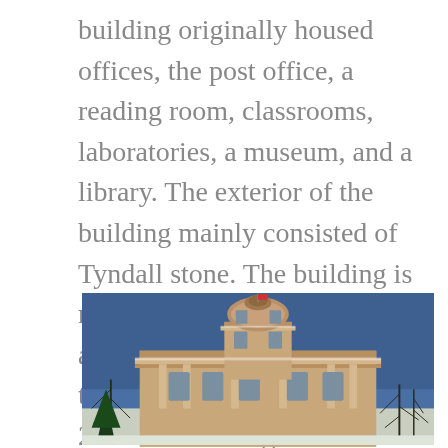building originally housed offices, the post office, a reading room, classrooms, laboratories, a museum, and a library. The exterior of the building mainly consisted of Tyndall stone. The building is now used as the main administration building for the University of Manitoba. In 2019 the building was designated as a historic building.
[Figure (photo): Photograph of a historic stone building with a domed tower, ornate classical architecture, bare trees in foreground, blue sky background — the main administration building of the University of Manitoba.]